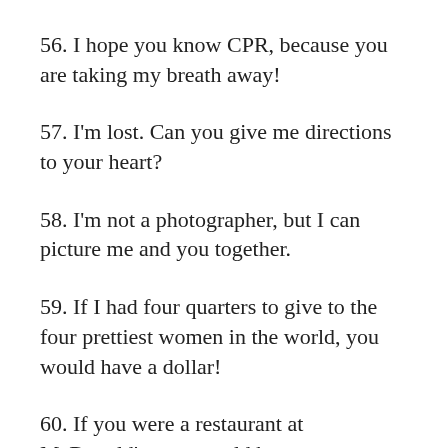56. I hope you know CPR, because you are taking my breath away!
57. I'm lost. Can you give me directions to your heart?
58. I'm not a photographer, but I can picture me and you together.
59. If I had four quarters to give to the four prettiest women in the world, you would have a dollar!
60. If you were a restaurant at McDonald's, you would be...